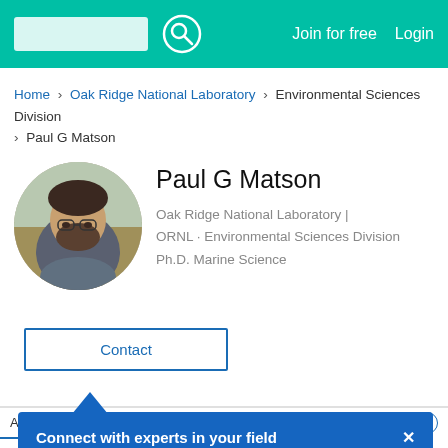Join for free  Login
Home > Oak Ridge National Laboratory > Environmental Sciences Division > Paul G Matson
Paul G Matson
Oak Ridge National Laboratory | ORNL · Environmental Sciences Division
Ph.D. Marine Science
[Figure (photo): Circular profile photo of Paul G Matson, a man with curly hair, beard, and glasses, in an outdoor wooded setting.]
Contact
Projects 1
Connect with experts in your field ×

Join ResearchGate to contact this researcher and connect with your scientific community.